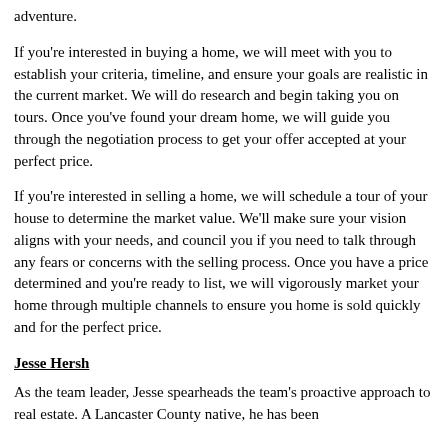adventure.
If you're interested in buying a home, we will meet with you to establish your criteria, timeline, and ensure your goals are realistic in the current market. We will do research and begin taking you on tours. Once you've found your dream home, we will guide you through the negotiation process to get your offer accepted at your perfect price.
If you're interested in selling a home, we will schedule a tour of your house to determine the market value. We'll make sure your vision aligns with your needs, and council you if you need to talk through any fears or concerns with the selling process. Once you have a price determined and you're ready to list, we will vigorously market your home through multiple channels to ensure you home is sold quickly and for the perfect price.
Jesse Hersh
As the team leader, Jesse spearheads the team's proactive approach to real estate. A Lancaster County native, he has been